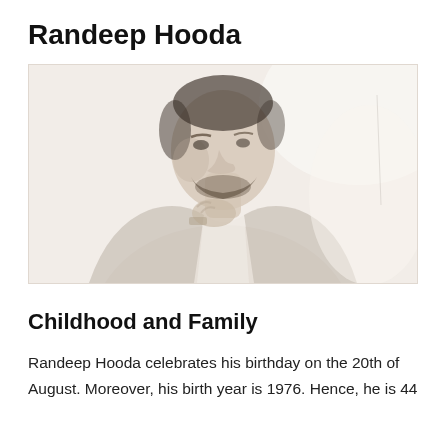Randeep Hooda
[Figure (photo): Faded monochrome portrait photograph of Randeep Hooda, a man with dark hair and beard, wearing an open-collar striped jacket, resting his hand near his chin in a thoughtful pose.]
Childhood and Family
Randeep Hooda celebrates his birthday on the 20th of August. Moreover, his birth year is 1976. Hence, he is 44